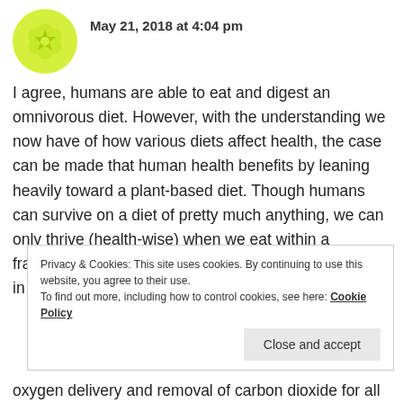May 21, 2018 at 4:04 pm
I agree, humans are able to eat and digest an omnivorous diet. However, with the understanding we now have of how various diets affect health, the case can be made that human health benefits by leaning heavily toward a plant-based diet. Though humans can survive on a diet of pretty much anything, we can only thrive (health-wise) when we eat within a framework that supports maximum energy efficiency in the body.
Privacy & Cookies: This site uses cookies. By continuing to use this website, you agree to their use.
To find out more, including how to control cookies, see here: Cookie Policy
Close and accept
oxygen delivery and removal of carbon dioxide for all